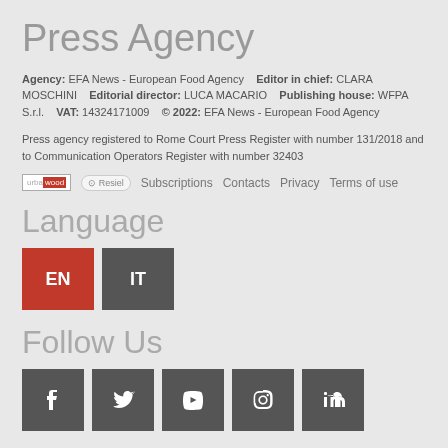Press Agency
Agency: EFA News - European Food Agency   Editor in chief: CLARA MOSCHINI   Editorial director: LUCA MACARIO   Publishing house: WFPA S.r.l.   VAT: 14324171009   © 2022: EFA News - European Food Agency
Press agency registered to Rome Court Press Register with number 131/2018 and to Communication Operators Register with number 32403
Subscriptions   Contacts   Privacy   Terms of use
Language
EN  IT
Follow Us
[Figure (other): Social media icons: Facebook, Twitter, YouTube, Instagram, LinkedIn]